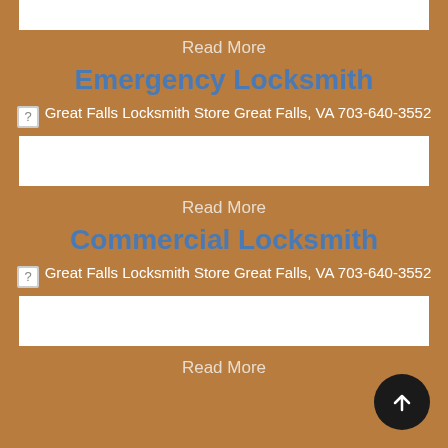[Figure (other): White horizontal bar (top, partial)]
Read More
Emergency Locksmith
[Figure (photo): Great Falls Locksmith Store Great Falls, VA 703-640-3552 — broken image icon with alt text]
[Figure (other): White horizontal bar]
Read More
Commercial Locksmith
[Figure (photo): Great Falls Locksmith Store Great Falls, VA 703-640-3552 — broken image icon with alt text]
[Figure (other): White horizontal bar]
Read More